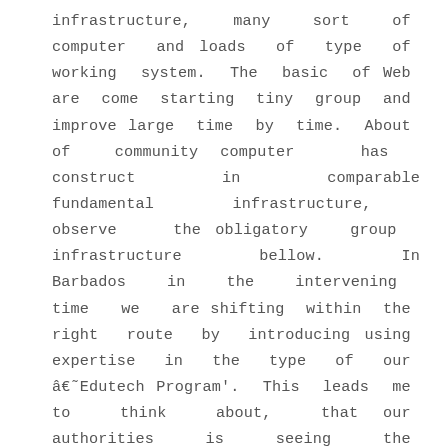infrastructure, many sort of computer and loads of type of working system. The basic of Web are come starting tiny group and improve large time by time. About of community computer has construct in comparable fundamental infrastructure, observe the obligatory group infrastructure bellow. In Barbados in the intervening time we are shifting within the right route by introducing using expertise in the type of our â€˜Edutech Program'. This leads me to think about, that our authorities is seeing the significance of expertise inside our coaching system and is making all efforts to introduce it within the education of our youth. Some say that I'm a software program engineer However after I create a software program, I do not design,